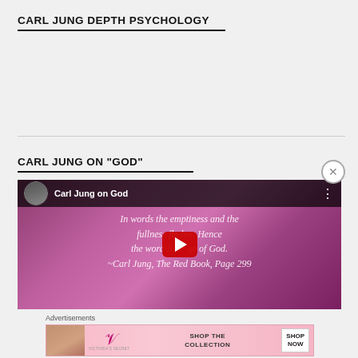CARL JUNG DEPTH PSYCHOLOGY
CARL JUNG ON "GOD"
[Figure (screenshot): YouTube video thumbnail showing 'Carl Jung on God' with a purple background displaying a cursive quote: 'In words the emptiness and the fullness flow together. Hence the word is the image of God. ~Carl Jung, The Red Book, Page 299', overlaid with a red YouTube play button.]
Advertisements
[Figure (screenshot): Victoria's Secret advertisement banner showing a woman, the VS logo, text 'SHOP THE COLLECTION', and a 'SHOP NOW' button.]